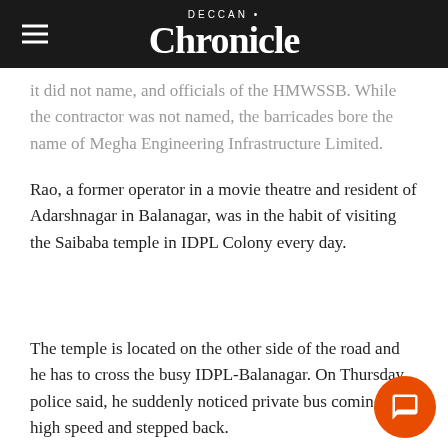DECCAN Chronicle
it did not name, and officials of the HMWSSB. While the contractor was not named, the barricades bore the name of Megha Engineering Infrastructure Limited.
Rao, a former operator in a movie theatre and resident of Adarshnagar in Balanagar, was in the habit of visiting the Saibaba temple in IDPL Colony every day.
The temple is located on the other side of the road and he has to cross the busy IDPL-Balanagar. On Thursday, police said, he suddenly noticed private bus coming at high speed and stepped back.